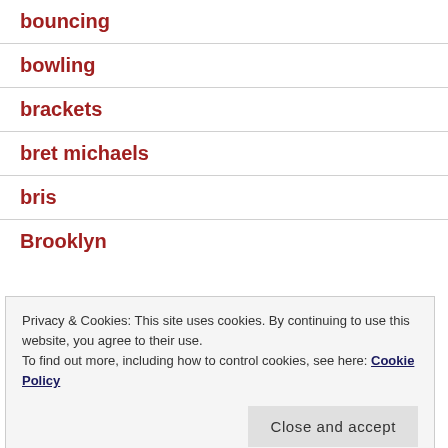bouncing
bowling
brackets
bret michaels
bris
Brooklyn
Privacy & Cookies: This site uses cookies. By continuing to use this website, you agree to their use.
To find out more, including how to control cookies, see here: Cookie Policy
Calvert Cliffs